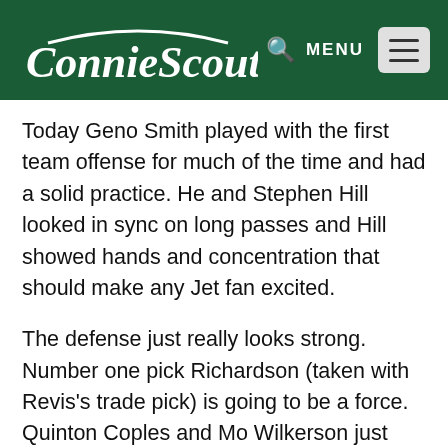Connie Scouts MENU
Today Geno Smith played with the first team offense for much of the time and had a solid practice. He and Stephen Hill looked in sync on long passes and Hill showed hands and concentration that should make any Jet fan excited.
The defense just really looks strong. Number one pick Richardson (taken with Revis's trade pick) is going to be a force. Quinton Coples and Mo Wilkerson just keep getting better.There didn't seem to be many openings